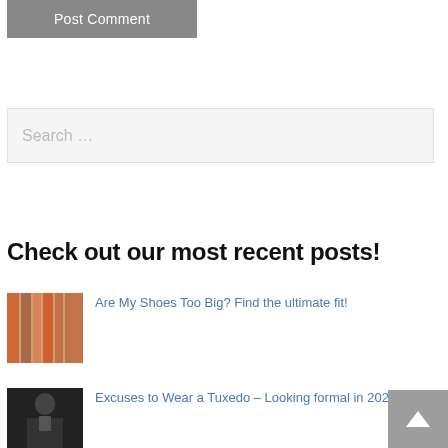[Figure (other): Post Comment button — dark grey rectangular button with white text]
[Figure (other): Search input box with placeholder text 'Search …']
Check out our most recent posts!
[Figure (photo): Thumbnail image of colorful shoes/sneakers on a rack]
Are My Shoes Too Big? Find the ultimate fit!
[Figure (photo): Thumbnail image of a person in formal/tuxedo attire]
Excuses to Wear a Tuxedo – Looking formal in 2021
[Figure (other): Back to top button — grey square with upward arrow]